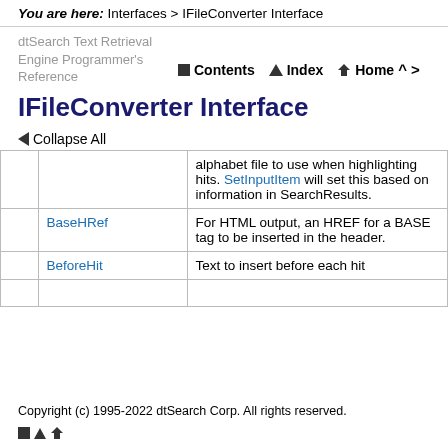You are here: Interfaces > IFileConverter Interface
dtSearch Text Retrieval Engine Programmer's Reference
Contents  Index  Home
IFileConverter Interface
Collapse All
|  |  | Description |
| --- | --- | --- |
|  |  | alphabet file to use when highlighting hits. SetInputItem will set this based on information in SearchResults. |
|  | BaseHRef | For HTML output, an HREF for a BASE tag to be inserted in the header. |
|  | BeforeHit | Text to insert before each hit |
|  |  |  |
Copyright (c) 1995-2022 dtSearch Corp. All rights reserved.